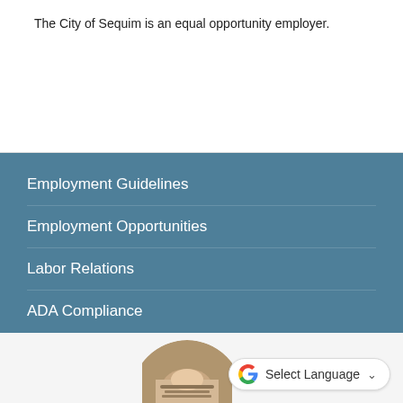The City of Sequim is an equal opportunity employer.
Employment Guidelines
Employment Opportunities
Labor Relations
ADA Compliance
[Figure (screenshot): Google Translate widget with 'Select Language' dropdown button and person writing photo in background]
[Figure (photo): Partial photo of a person writing on paper, circular crop, bottom of page]